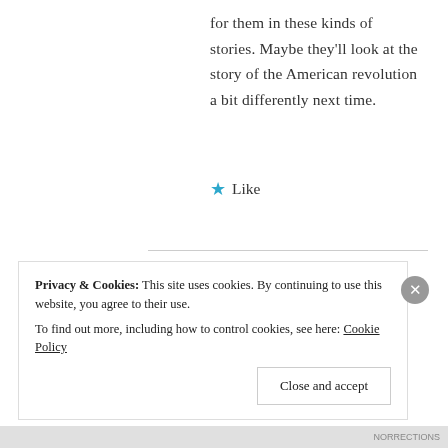for them in these kinds of stories. Maybe they'll look at the story of the American revolution a bit differently next time.
★ Like
[Figure (logo): Dark green circular logo with grid/square pattern in the center, resembling a stylized flower or pinwheel shape]
r (italic, stylized blog logo letter)
Privacy & Cookies: This site uses cookies. By continuing to use this website, you agree to their use. To find out more, including how to control cookies, see here: Cookie Policy
Close and accept
NORRECTIONS